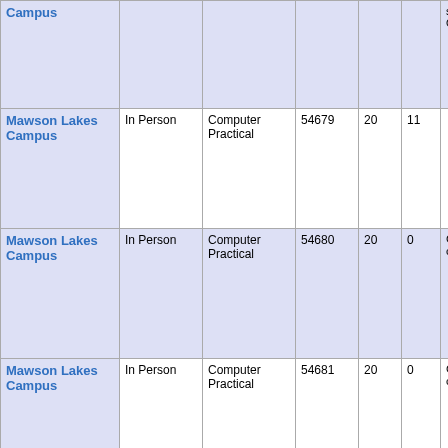| Campus | Mode | Type | ID | Cap | Enr | Note | Schedule |
| --- | --- | --- | --- | --- | --- | --- | --- |
| Campus |  |  |  |  |  | students ONLY | Su Da... |
| Mawson Lakes Campus | In Person | Computer Practical | 54679 | 20 | 11 |  | Su Da... |
| Mawson Lakes Campus | In Person | Computer Practical | 54680 | 20 | 0 | Class to be cancelled | Su Da... |
| Mawson Lakes Campus | In Person | Computer Practical | 54681 | 20 | 0 | Class to be cancelled | Su Da... |